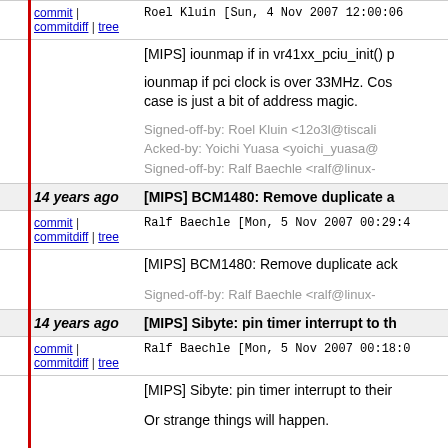commit | commitdiff | tree   Roel Kluin [Sun, 4 Nov 2007 12:00:06
[MIPS] iounmap if in vr41xx_pciu_init() p

iounmap if pci clock is over 33MHz. Cos case is just a bit of address magic.

Signed-off-by: Roel Kluin <12o3l@tiscali Acked-by: Yoichi Yuasa <yoichi_yuasa@ Signed-off-by: Ralf Baechle <ralf@linux-
14 years ago   [MIPS] BCM1480: Remove duplicate a
commit | commitdiff | tree   Ralf Baechle [Mon, 5 Nov 2007 00:29:4
[MIPS] BCM1480: Remove duplicate ack

Signed-off-by: Ralf Baechle <ralf@linux-
14 years ago   [MIPS] Sibyte: pin timer interrupt to th
commit | commitdiff | tree   Ralf Baechle [Mon, 5 Nov 2007 00:18:0
[MIPS] Sibyte: pin timer interrupt to their

Or strange things will happen.